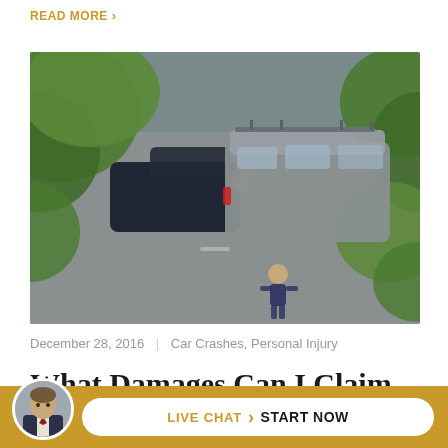READ MORE >
[Figure (photo): Aerial view of a car crash between a dark sedan and a gray minivan on a road, with green trees on the sides and a person standing nearby looking at the accident.]
December 28, 2016 | Car Crashes, Personal Injury
What Damages Can I Claim After a Car Accident?
[Figure (other): Live chat button bar at the bottom with an attorney avatar photo, a white rounded button with LIVE CHAT > START NOW text on a gold/amber background.]